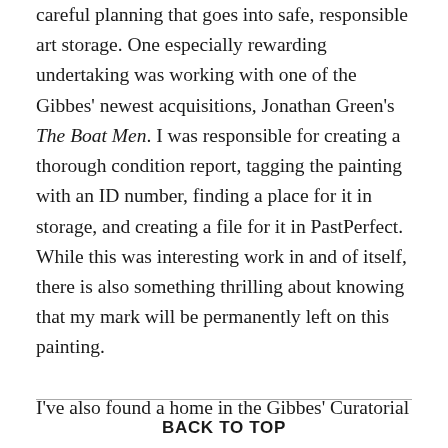careful planning that goes into safe, responsible art storage. One especially rewarding undertaking was working with one of the Gibbes' newest acquisitions, Jonathan Green's The Boat Men. I was responsible for creating a thorough condition report, tagging the painting with an ID number, finding a place for it in storage, and creating a file for it in PastPerfect. While this was interesting work in and of itself, there is also something thrilling about knowing that my mark will be permanently left on this painting.

I've also found a home in the Gibbes' Curatorial
BACK TO TOP